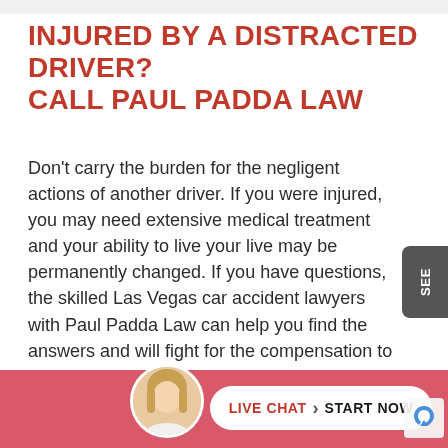INJURED BY A DISTRACTED DRIVER? CALL PAUL PADDA LAW
Don't carry the burden for the negligent actions of another driver. If you were injured, you may need extensive medical treatment and your ability to live your live may be permanently changed. If you have questions, the skilled Las Vegas car accident lawyers with Paul Padda Law can help you find the answers and will fight for the compensation to set things right.
Call our office
[Figure (illustration): Chat widget bottom bar with female attorney avatar, Live Chat and Start Now button, on a pink/salmon background]